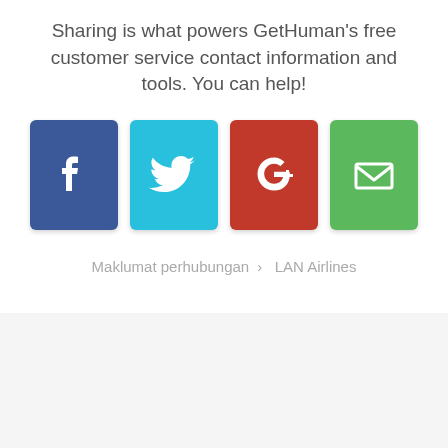Sharing is what powers GetHuman's free customer service contact information and tools. You can help!
[Figure (infographic): Four social sharing buttons: Facebook (blue), Twitter (cyan), Google+ (red), Email (green), each as a rounded square icon button]
Maklumat perhubungan › LAN Airlines